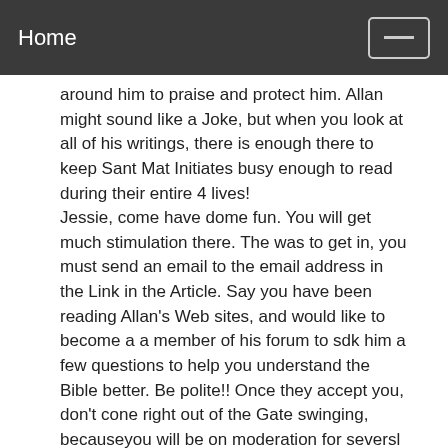Home
around him to praise and protect him. Allan might sound like a Joke, but when you look at all of his writings, there is enough there to keep Sant Mat Initiates busy enough to read during their entire 4 lives! Jessie, come have dome fun. You will get much stimulation there. The was to get in, you must send an email to the email address in the Link in the Article. Say you have been reading Allan's Web sites, and would like to become a a member of his forum to sdk him a few questions to help you understand the Bible better. Be polite!! Once they accept you, don't cone right out of the Gate swinging, becauseyou will be on moderation for seversl posts until they trust you enough to let you post fter,y. You can ask Allan any herd question, and he will dump an 18 Wheeler load of Links he had written yo ander all of your questions. They won't kick you off the forum as long as you don't cuss, or use fowl language. But Allan will never dodge any questions, but he will rage like a Bull, and try to give you his horns when you don't accept his answers as Truth!! All fun, but keeping his